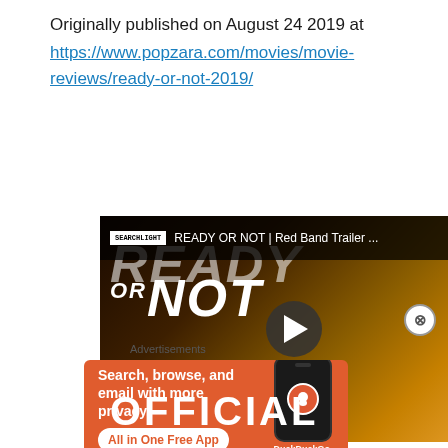Originally published on August 24 2019 at https://www.popzara.com/movies/movie-reviews/ready-or-not-2019/
[Figure (screenshot): YouTube video thumbnail for 'READY OR NOT | Red Band Trailer ...' showing a woman in a yellow lace top against a dark background, with a play button overlay and text 'OFFICIAL' at the bottom]
Advertisements
[Figure (screenshot): DuckDuckGo advertisement banner with orange background saying 'Search, browse, and email with more privacy. All in One Free App' with a phone mockup showing the DuckDuckGo logo]